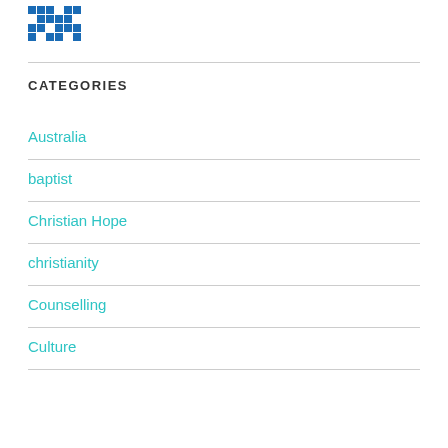[Figure (logo): Blue pixelated/mosaic style logo icon in top left corner]
CATEGORIES
Australia
baptist
Christian Hope
christianity
Counselling
Culture